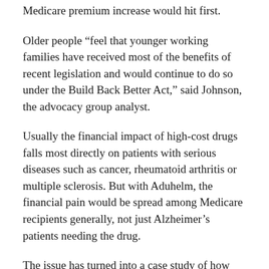Medicare premium increase would hit first.
Older people “feel that younger working families have received most of the benefits of recent legislation and would continue to do so under the Build Back Better Act,” said Johnson, the advocacy group analyst.
Usually the financial impact of high-cost drugs falls most directly on patients with serious diseases such as cancer, rheumatoid arthritis or multiple sclerosis. But with Aduhelm, the financial pain would be spread among Medicare recipients generally, not just Alzheimer’s patients needing the drug.
The issue has turned into a case study of how one pricey medication can swing the needle on government spending and impact household budgets. People who don’t have Alzheimer’s would be hit as high half from the cost of